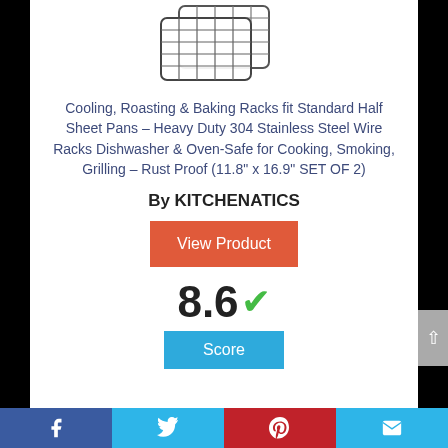[Figure (illustration): Image of stainless steel wire cooling/baking racks]
Cooling, Roasting & Baking Racks fit Standard Half Sheet Pans – Heavy Duty 304 Stainless Steel Wire Racks Dishwasher & Oven-Safe for Cooking, Smoking, Grilling – Rust Proof (11.8" x 16.9" SET OF 2)
By KITCHENATICS
View Product
8.6 Score
Facebook Twitter Pinterest Email social sharing bar